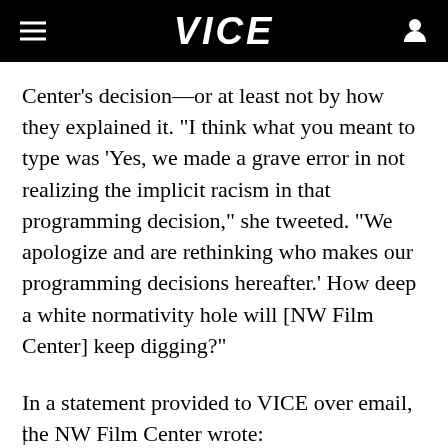VICE
Center's decision—or at least not by how they explained it. "I think what you meant to type was 'Yes, we made a grave error in not realizing the implicit racism in that programming decision," she tweeted. "We apologize and are rethinking who makes our programming decisions hereafter.' How deep a white normativity hole will [NW Film Center] keep digging?"
In a statement provided to VICE over email, the NW Film Center wrote: